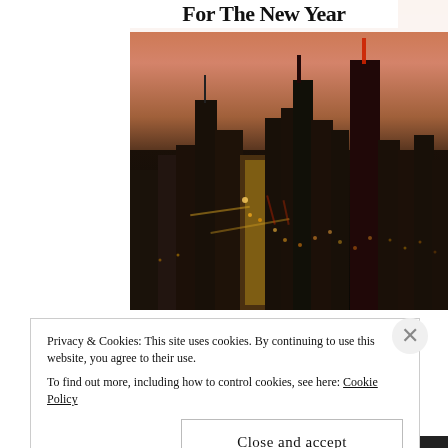For The New Year
[Figure (photo): Aerial night/dusk view of a city skyline, likely Chicago, with city lights, tall skyscrapers including the Willis Tower, and a warm orange-pink twilight sky.]
Privacy & Cookies: This site uses cookies. By continuing to use this website, you agree to their use.
To find out more, including how to control cookies, see here: Cookie Policy
Close and accept